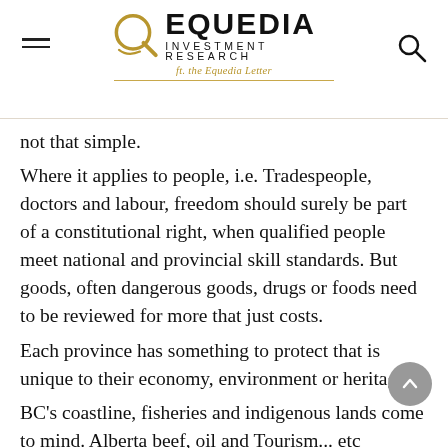EQUEDIA INVESTMENT RESEARCH ft. the Equedia Letter
not that simple.
Where it applies to people, i.e. Tradespeople, doctors and labour, freedom should surely be part of a constitutional right, when qualified people meet national and provincial skill standards. But goods, often dangerous goods, drugs or foods need to be reviewed for more that just costs.
Each province has something to protect that is unique to their economy, environment or heritage.
BC's coastline, fisheries and indigenous lands come to mind. Alberta beef, oil and Tourism... etc
Trade issues between provinces may need